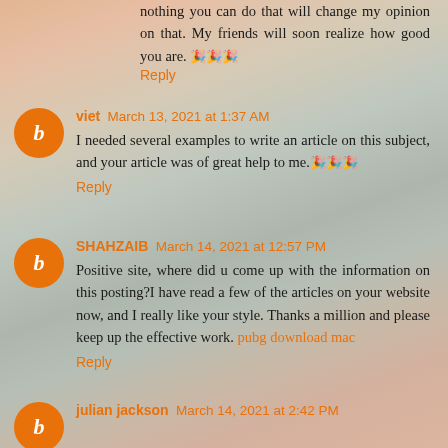nothing you can do that will change my opinion on that. My friends will soon realize how good you are. 🎉🎉🎉
Reply
viet  March 13, 2021 at 1:37 AM
I needed several examples to write an article on this subject, and your article was of great help to me.🎉🎉🎉
Reply
SHAHZAIB  March 14, 2021 at 12:57 PM
Positive site, where did u come up with the information on this posting?I have read a few of the articles on your website now, and I really like your style. Thanks a million and please keep up the effective work. pubg download mac
Reply
julian jackson  March 14, 2021 at 2:42 PM